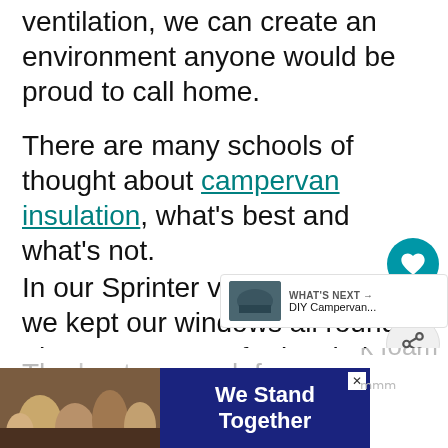ventilation, we can create an environment anyone would be proud to call home.
There are many schools of thought about campervan insulation, what's best and what's not.
In our Sprinter van conversion, we kept our windows all round. They're not great for insulation, so have thermal curtains, which do the trick.
The best k foam ho...